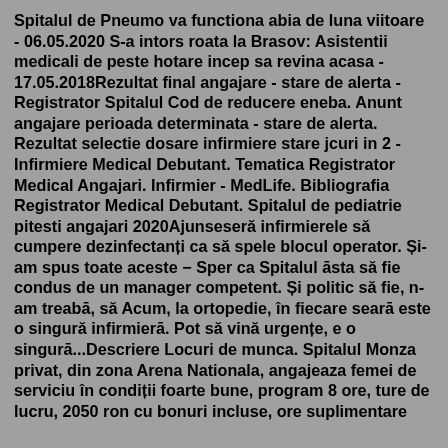Spitalul de Pneumo va functiona abia de luna viitoare - 06.05.2020 S-a intors roata la Brasov: Asistentii medicali de peste hotare incep sa revina acasa - 17.05.2018Rezultat final angajare - stare de alerta - Registrator Spitalul Cod de reducere eneba. Anunt angajare perioada determinata - stare de alerta. Rezultat selectie dosare infirmiere stare jcuri in 2 - Infirmiere Medical Debutant. Tematica Registrator Medical Angajari. Infirmier - MedLife. Bibliografia Registrator Medical Debutant. Spitalul de pediatrie pitesti angajari 2020Ajunseseră infirmierele să cumpere dezinfectanți ca să spele blocul operator. Și-am spus toate aceste − Sper ca Spitalul āsta să fie condus de un manager competent. Și politic să fie, n-am treabā, să Acum, la ortopedie, în fiecare searā este o singură infirmierā. Pot să vină urgențe, e o singurā...Descriere Locuri de munca. Spitalul Monza privat, din zona Arena Nationala, angajeaza femei de serviciu în condiții foarte bune, program 8 ore, ture de lucru, 2050 ron cu bonuri incluse, ore suplimentare